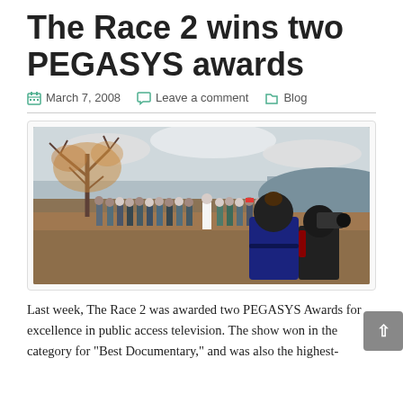The Race 2 wins two PEGASYS awards
March 7, 2008 · Leave a comment · Blog
[Figure (photo): Outdoor group photo near a river or lake. A large group of people stands in a line facing a person in a white shirt. Two camera operators are visible in the foreground filming the group. Bare autumn trees and water visible in the background.]
Last week, The Race 2 was awarded two PEGASYS Awards for excellence in public access television. The show won in the category for “Best Documentary,” and was also the highest-